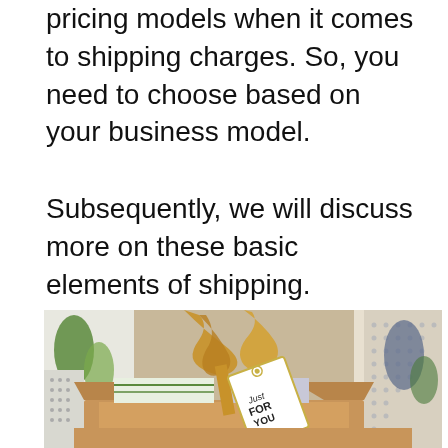pricing models when it comes to shipping charges. So, you need to choose based on your business model.
Subsequently, we will discuss more on these basic elements of shipping.
[Figure (photo): A kraft cardboard gift box with a gold mesh ribbon bow and a white gift tag reading 'Just For You', set against a colorful decorative patterned background with leaf and geometric shapes in green, blue, brown, and white.]